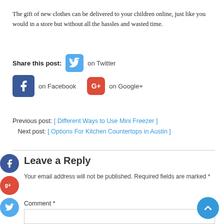The gift of new clothes can be delivered to your children online, just like you would in a store but without all the hassles and wasted time.
Share this post: on Twitter on Facebook on Google+
Previous post: [ Different Ways to Use Mini Freezer ]
Next post: [ Options For Kitchen Countertops in Austin ]
Leave a Reply
Your email address will not be published. Required fields are marked *
Comment *